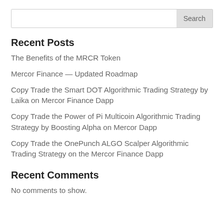Recent Posts
The Benefits of the MRCR Token
Mercor Finance — Updated Roadmap
Copy Trade the Smart DOT Algorithmic Trading Strategy by Laika on Mercor Finance Dapp
Copy Trade the Power of Pi Multicoin Algorithmic Trading Strategy by Boosting Alpha on Mercor Dapp
Copy Trade the OnePunch ALGO Scalper Algorithmic Trading Strategy on the Mercor Finance Dapp
Recent Comments
No comments to show.